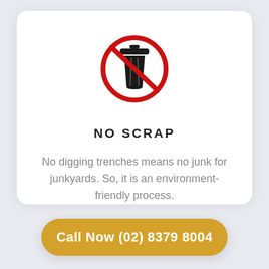[Figure (illustration): No scrap icon: a black trash can with a red prohibition circle (crossed-out circle) overlaid on it]
NO SCRAP
No digging trenches means no junk for junkyards. So, it is an environment-friendly process.
Call Now (02) 8379 8004